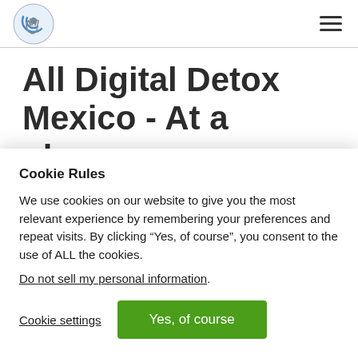[Logo: Digital Detox Mexico] [Hamburger menu icon]
All Digital Detox Mexico - At a glance
Cookie Rules
We use cookies on our website to give you the most relevant experience by remembering your preferences and repeat visits. By clicking “Yes, of course”, you consent to the use of ALL the cookies.
Do not sell my personal information.
Cookie settings | Yes, of course